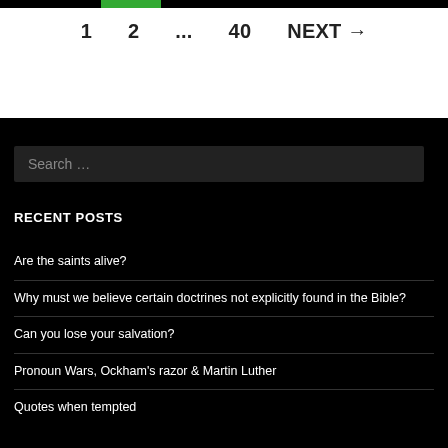1   2   ...   40   NEXT →
Search ...
RECENT POSTS
Are the saints alive?
Why must we believe certain doctrines not explicitly found in the Bible?
Can you lose your salvation?
Pronoun Wars, Ockham's razor & Martin Luther
Quotes when tempted